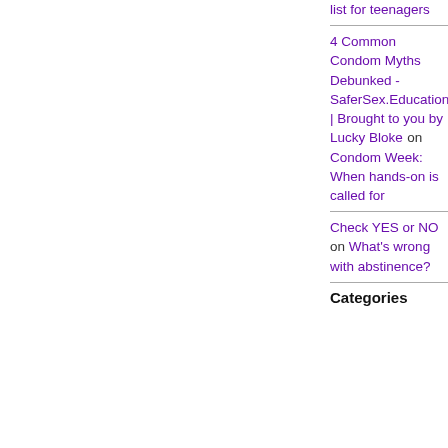4 Common Condom Myths Debunked - SaferSex.Education | Brought to you by Lucky Bloke on Condom Week: When hands-on is called for
Check YES or NO on What's wrong with abstinence?
Categories